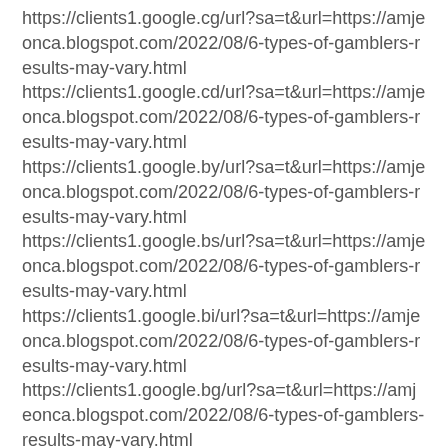https://clients1.google.cg/url?sa=t&url=https://amjeonca.blogspot.com/2022/08/6-types-of-gamblers-results-may-vary.html
https://clients1.google.cd/url?sa=t&url=https://amjeonca.blogspot.com/2022/08/6-types-of-gamblers-results-may-vary.html
https://clients1.google.by/url?sa=t&url=https://amjeonca.blogspot.com/2022/08/6-types-of-gamblers-results-may-vary.html
https://clients1.google.bs/url?sa=t&url=https://amjeonca.blogspot.com/2022/08/6-types-of-gamblers-results-may-vary.html
https://clients1.google.bi/url?sa=t&url=https://amjeonca.blogspot.com/2022/08/6-types-of-gamblers-results-may-vary.html
https://clients1.google.bg/url?sa=t&url=https://amjeonca.blogspot.com/2022/08/6-types-of-gamblers-results-may-vary.html
https://clients1.google.be/url?sa=t&url=https://amjeonca.blogspot.com/2022/08/6-